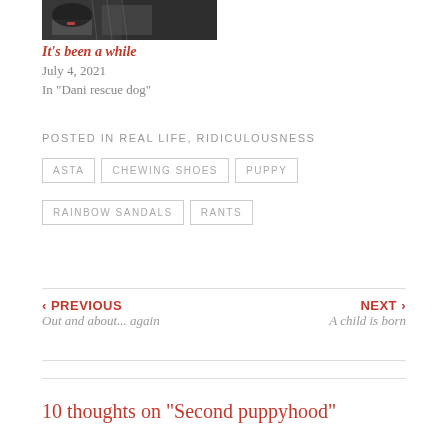[Figure (photo): Top portion of a dog photo (dark colored dog with pink leash/collar, partially visible at top of page)]
It's been a while
July 4, 2021
In "Dani rescue dog"
POSTED IN REAL LIFE, RIDICULOUSNESS
ASTA
CHEWING SHOES
PUPPY
RAINBOW SANDALS
RANTS
‹ PREVIOUS
Out and about... again
NEXT ›
A child is born
10 thoughts on "Second puppyhood"